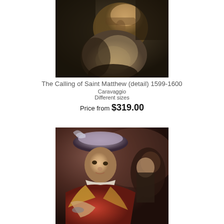[Figure (photo): Detail of Caravaggio painting showing an elderly bearded man with dark background, close-up of face and beard]
The Calling of Saint Matthew (detail) 1599-1600
Caravaggio
Different sizes
Price from $319.00
[Figure (photo): Detail of Caravaggio painting showing a young boy in feathered hat and colorful costume with another figure in the background]